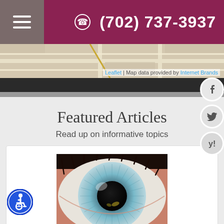(702) 737-3937
[Figure (map): Street map background with attribution: Leaflet | Map data provided by Internet Brands]
Featured Articles
Read up on informative topics
[Figure (photo): Close-up macro photograph of a blue human eye with detailed iris and pupil visible]